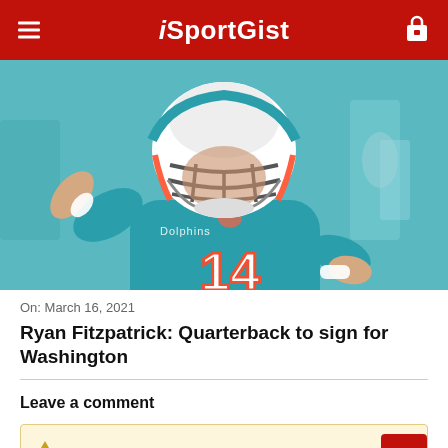iSportGist
[Figure (photo): NFL quarterback Ryan Fitzpatrick wearing Miami Dolphins teal uniform number 14 and white helmet, mid-throwing motion with arm raised]
On: March 16, 2021
Ryan Fitzpatrick: Quarterback to sign for Washington
Leave a comment
You must login to add a new comment.